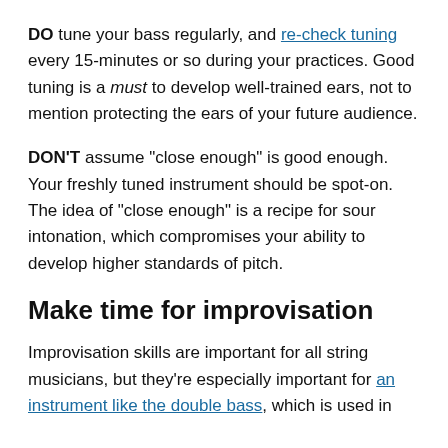DO tune your bass regularly, and re-check tuning every 15-minutes or so during your practices. Good tuning is a must to develop well-trained ears, not to mention protecting the ears of your future audience.
DON'T assume "close enough" is good enough. Your freshly tuned instrument should be spot-on. The idea of "close enough" is a recipe for sour intonation, which compromises your ability to develop higher standards of pitch.
Make time for improvisation
Improvisation skills are important for all string musicians, but they're especially important for an instrument like the double bass, which is used in